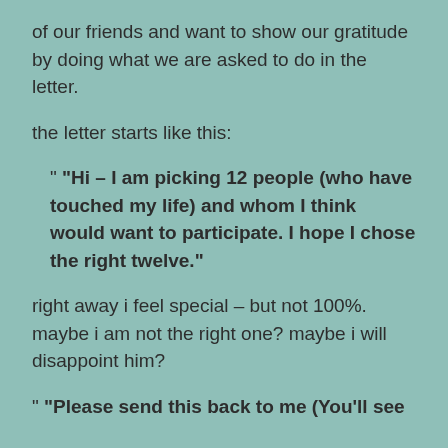of our friends and want to show our gratitude by doing what we are asked to do in the letter.
the letter starts like this:
" “Hi – I am picking 12 people (who have touched my life) and whom I think would want to participate. I hope I chose the right twelve.”
right away i feel special – but not 100%. maybe i am not the right one? maybe i will disappoint him?
" “Please send this back to me (You’ll see